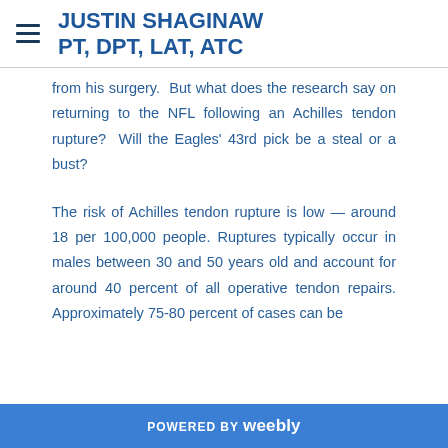JUSTIN SHAGINAW PT, DPT, LAT, ATC
from his surgery.  But what does the research say on returning to the NFL following an Achilles tendon rupture?  Will the Eagles' 43rd pick be a steal or a bust?
The risk of Achilles tendon rupture is low — around 18 per 100,000 people. Ruptures typically occur in males between 30 and 50 years old and account for around 40 percent of all operative tendon repairs. Approximately 75-80 percent of cases can be
POWERED BY weebly